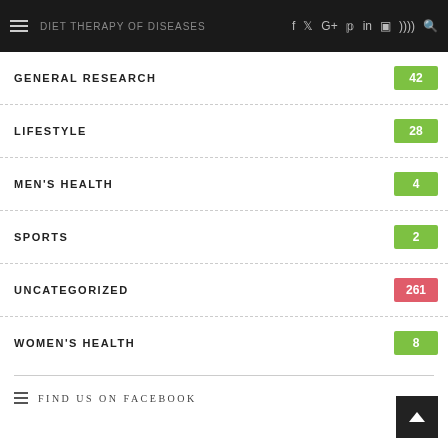DIET THERAPY OF DISEASES
GENERAL RESEARCH 42
LIFESTYLE 28
MEN'S HEALTH 4
SPORTS 2
UNCATEGORIZED 261
WOMEN'S HEALTH 8
FIND US ON FACEBOOK